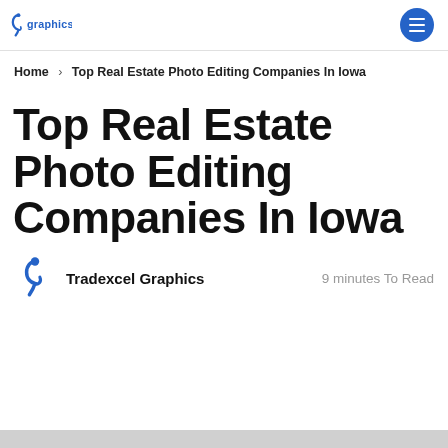graphics [logo] [hamburger menu]
Home > Top Real Estate Photo Editing Companies In Iowa
Top Real Estate Photo Editing Companies In Iowa
Tradexcel Graphics   9 minutes To Read